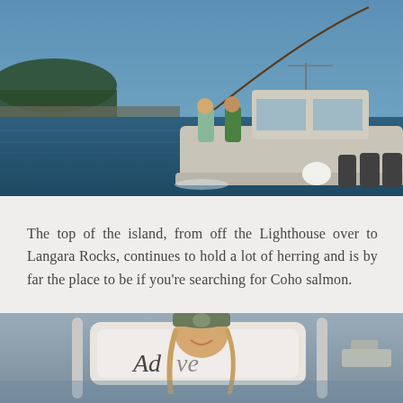[Figure (photo): Two people on a fishing boat on calm blue water, one holding a bent fishing rod with line arcing into the sky. A forested shoreline is visible in the background. The boat has multiple outboard motors.]
The top of the island, from off the Lighthouse over to Langara Rocks, continues to hold a lot of herring and is by far the place to be if you're searching for Coho salmon.
[Figure (photo): A smiling young woman wearing a dark olive baseball cap with a badge, seated on a boat with a white seat back reading 'Adventure'. Another boat is visible in the background on the water.]